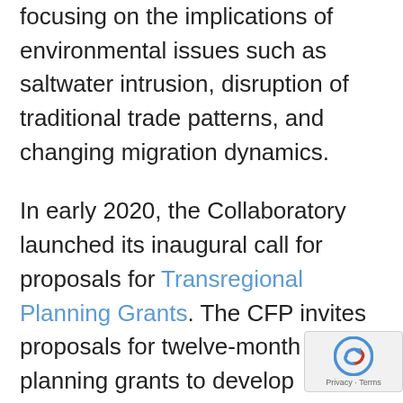focusing on the implications of environmental issues such as saltwater intrusion, disruption of traditional trade patterns, and changing migration dynamics.
In early 2020, the Collaboratory launched its inaugural call for proposals for Transregional Planning Grants. The CFP invites proposals for twelve-month planning grants to develop collaborative research projects on the relationship between political, economic, and social processes and profound climate and environmental change in and across Indian Ocean countries. The aim of these grants is to help develop robust projects eligible for future funding, including the Collaboratory's